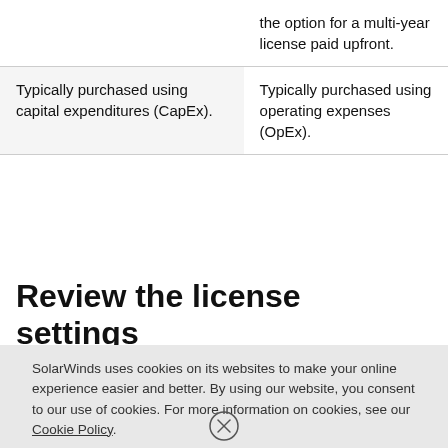|  |  |
| --- | --- |
|  | the option for a multi-year license paid upfront. |
| Typically purchased using capital expenditures (CapEx). | Typically purchased using operating expenses (OpEx). |
Review the license settings
SolarWinds uses cookies on its websites to make your online experience easier and better. By using our website, you consent to our use of cookies. For more information on cookies, see our Cookie Policy.